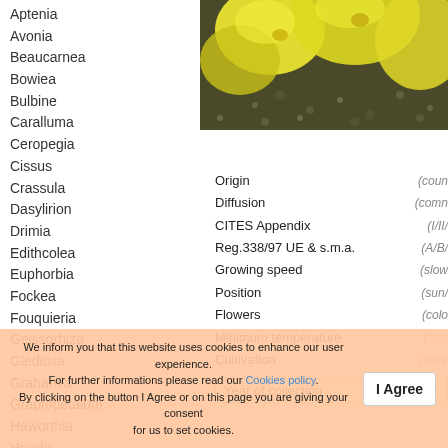Aptenia
Avonia
Beaucarnea
Bowiea
Bulbine
Caralluma
Ceropegia
Cissus
Crassula
Dasylirion
Drimia
Edithcolea
Euphorbia
Fockea
Fouquieria
Geissorhiza
Gleditsia
Grahamia
Graptopetalum
Haworthia
Hoodia
Kalanchoe
Kedrostis
Lachenalia
Massonia
Ornea
Pachypodium
[Figure (photo): Close-up photo of bright yellow flowers against dark gravel/soil background]
| Property | Value |
| --- | --- |
| Origin | (country) |
| Diffusion | (common) |
| CITES Appendix | (I/II/...) |
| Reg.338/97 UE & s.m.a. | (A/B/...) |
| Growing speed | (slow/...) |
| Position | (sun/...) |
| Flowers | (color/...) |
| Minimum temperature | (°C / ...) |
| Cultivation | (easy/...) |
| Size adult plant | (small/...) |
| Year of collection |  |
| --- | --- |
| Year of collection | 2021 |
We inform you that this website uses cookies to enhance our user experience. For further informations please read our Cookies policy. By clicking on the button I Agree or on this page you are giving your consent for us to set cookies.